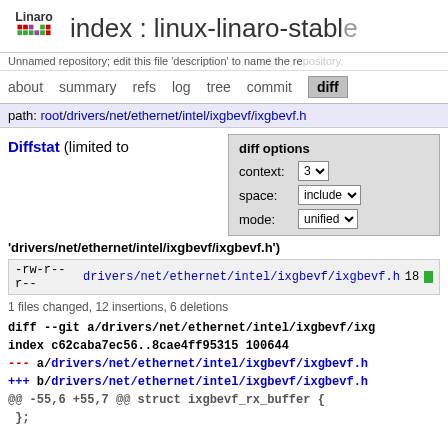index : linux-linaro-stable
Unnamed repository; edit this file 'description' to name the repository.
about  summary  refs  log  tree  commit  diff
path: root/drivers/net/ethernet/intel/ixgbevf/ixgbevf.h
Diffstat (limited to
diff options
context: 3
space: include
mode: unified
'drivers/net/ethernet/intel/ixgbevf/ixgbevf.h')
-rw-r--r-- drivers/net/ethernet/intel/ixgbevf/ixgbevf.h 18
1 files changed, 12 insertions, 6 deletions
diff --git a/drivers/net/ethernet/intel/ixgbevf/ixg
index c62caba7ec56..8cae4ff95315 100644
--- a/drivers/net/ethernet/intel/ixgbevf/ixgbevf.h
+++ b/drivers/net/ethernet/intel/ixgbevf/ixgbevf.h
@@ -55,6 +55,7 @@ struct ixgbevf_rx_buffer {
 };